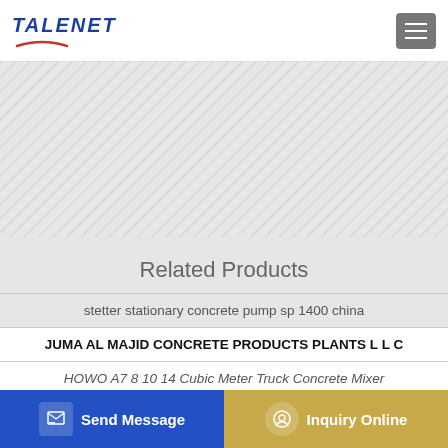TALENET
[Figure (photo): Banner/hero image area with stone texture background]
Related Products
stetter stationary concrete pump sp 1400 china
JUMA AL MAJID CONCRETE PRODUCTS PLANTS L L C
HOWO A7 8 10 14 Cubic Meter Truck Concrete Mixer
Global Construction Truck Mounted Concrete Pumps Market
Send Message
Inquiry Online